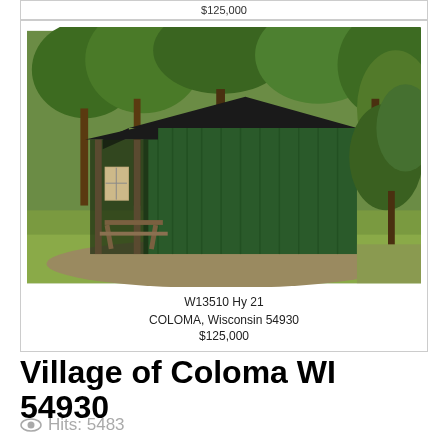$125,000
[Figure (photo): Exterior photo of a small green metal shed/cabin with a covered front porch, wooden posts, picnic table, surrounded by trees and green grass.]
W13510 Hy 21
COLOMA, Wisconsin 54930
$125,000
Village of Coloma WI 54930
Hits: 5483